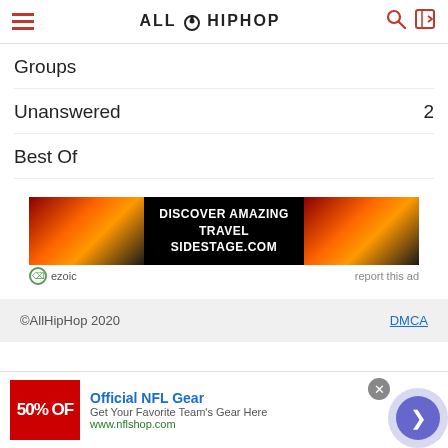AllHipHop
Groups
Unanswered  2
Best Of
[Figure (infographic): Ad banner for DISCOVER AMAZING TRAVEL SIDESTAGE.COM with sunset/mountain imagery, ezoic label, and report this ad link]
©AllHipHop 2020   DMCA
Official NFL Gear – Get Your Favorite Team's Gear Here – www.nflshop.com